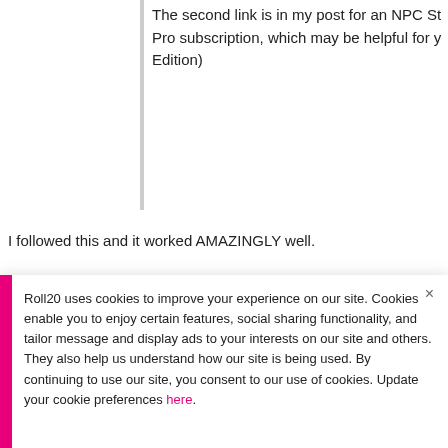The second link is in my post for an NPC St Pro subscription, which may be helpful for y Edition)
I followed this and it worked AMAZINGLY well.
Thank you so much :-)
I'm happy :-)
Roll20 uses cookies to improve your experience on our site. Cookies enable you to enjoy certain features, social sharing functionality, and tailor message and display ads to your interests on our site and others. They also help us understand how our site is being used. By continuing to use our site, you consent to our use of cookies. Update your cookie preferences here.
Permalink  Quote